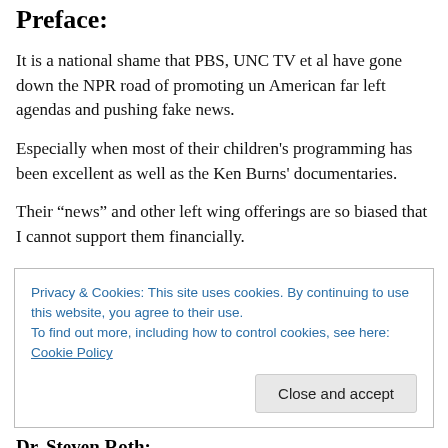Preface:
It is a national shame that PBS, UNC TV et al have gone down the NPR road of promoting un American far left agendas and pushing fake news.
Especially when most of their children's programming has been excellent as well as the Ken Burns' documentaries.
Their “news” and other left wing offerings are so biased that I cannot support them financially.
Privacy & Cookies: This site uses cookies. By continuing to use this website, you agree to their use.
To find out more, including how to control cookies, see here: Cookie Policy
Dr. Steven Roth: